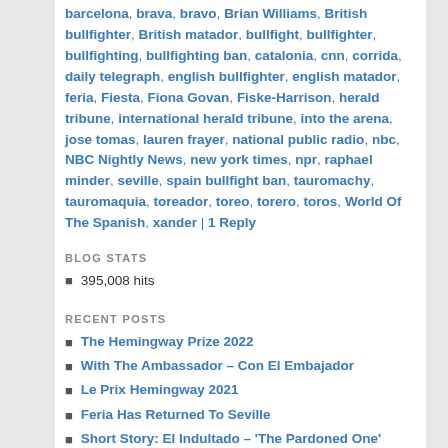barcelona, brava, bravo, Brian Williams, British bullfighter, British matador, bullfight, bullfighter, bullfighting, bullfighting ban, catalonia, cnn, corrida, daily telegraph, english bullfighter, english matador, feria, Fiesta, Fiona Govan, Fiske-Harrison, herald tribune, international herald tribune, into the arena, jose tomas, lauren frayer, national public radio, nbc, NBC Nightly News, new york times, npr, raphael minder, seville, spain bullfight ban, tauromachy, tauromaquia, toreador, toreo, torero, toros, World Of The Spanish, xander | 1 Reply
BLOG STATS
395,008 hits
RECENT POSTS
The Hemingway Prize 2022
With The Ambassador – Con El Embajador
Le Prix Hemingway 2021
Feria Has Returned To Seville
Short Story: El Indultado – 'The Pardoned One'